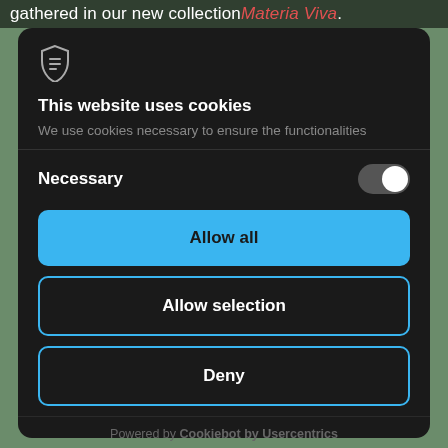gathered in our new collection Materia Viva.
[Figure (screenshot): Cookie consent modal dialog on a dark background. Contains a shield logo, title 'This website uses cookies', description text, a Necessary toggle switch (enabled), and three buttons: Allow all (blue filled), Allow selection (blue outline), Deny (dark outline). Footer reads 'Powered by Cookiebot by Usercentrics'.]
This website uses cookies
We use cookies necessary to ensure the functionalities
Necessary
Allow all
Allow selection
Deny
Powered by Cookiebot by Usercentrics